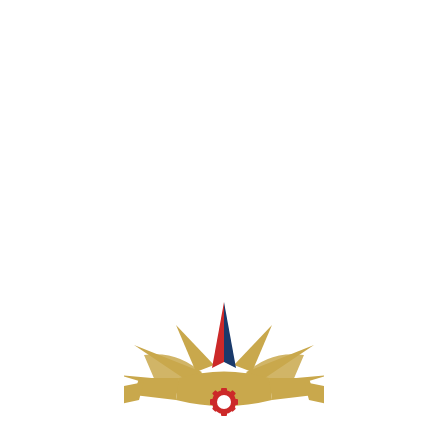[Figure (logo): Institutional logo featuring a stylized lotus/sunburst shape in gold with a red gear at the center, topped by a red and blue diamond/arrow shape representing a torch or flame. The logo is partially cropped at the bottom of the page.]